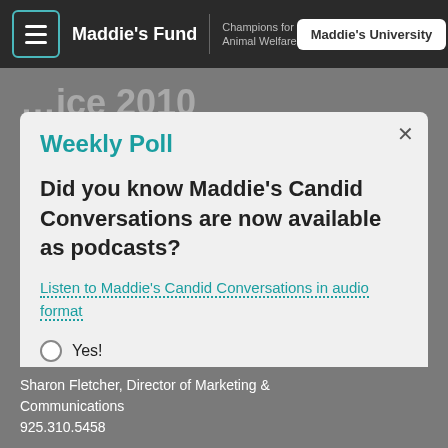Maddie's Fund | Champions for Animal Welfare | Maddie's University
Weekly Poll
Did you know Maddie's Candid Conversations are now available as podcasts?
Listen to Maddie's Candid Conversations in audio format
Yes!
No, tell me more!
SUBMIT
Sharon Fletcher, Director of Marketing & Communications
925.310.5458